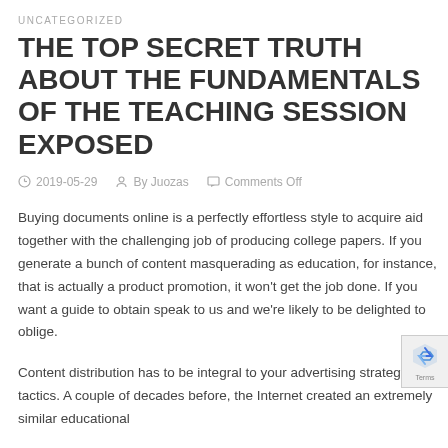UNCATEGORIZED
THE TOP SECRET TRUTH ABOUT THE FUNDAMENTALS OF THE TEACHING SESSION EXPOSED
2019-05-29   By Juozas   Comments Off
Buying documents online is a perfectly effortless style to acquire aid together with the challenging job of producing college papers. If you generate a bunch of content masquerading as education, for instance, that is actually a product promotion, it won't get the job done. If you want a guide to obtain speak to us and we're likely to be delighted to oblige.
Content distribution has to be integral to your advertising strategy and tactics. A couple of decades before, the Internet created an extremely similar educational